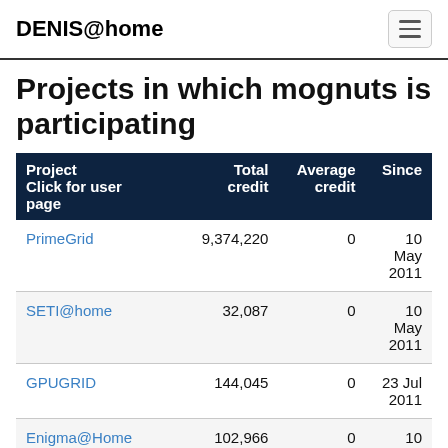DENIS@home
Projects in which mognuts is participating
| Project Click for user page | Total credit | Average credit | Since |
| --- | --- | --- | --- |
| PrimeGrid | 9,374,220 | 0 | 10 May 2011 |
| SETI@home | 32,087 | 0 | 10 May 2011 |
| GPUGRID | 144,045 | 0 | 23 Jul 2011 |
| Enigma@Home | 102,966 | 0 | 10 May |